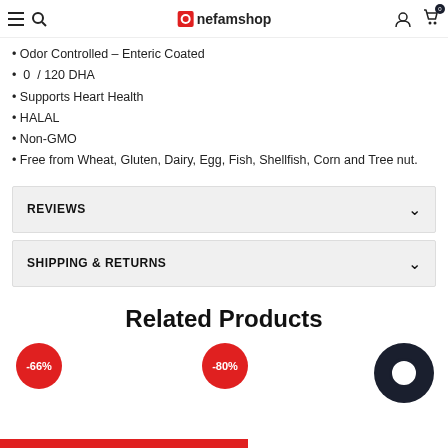onefamshop — navigation bar with menu, search, logo, account, cart (0)
• Odor Controlled – Enteric Coated
• 0 DHA / 120 DHA
• Supports Heart Health
• HALAL
• Non-GMO
• Free from Wheat, Gluten, Dairy, Egg, Fish, Shellfish, Corn and Tree nut.
REVIEWS
SHIPPING & RETURNS
Related Products
[Figure (other): Red discount badge showing -66%]
[Figure (other): Red discount badge showing -80%]
[Figure (other): Dark circular chat widget icon]